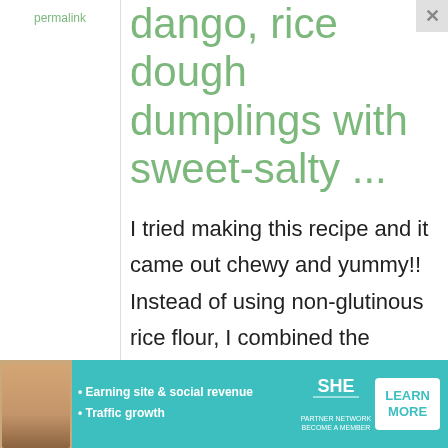permalink
dango, rice dough dumplings with sweet-salty ...
I tried making this recipe and it came out chewy and yummy!! Instead of using non-glutinous rice flour, I combined the glutinous & mochiko
[Figure (infographic): Advertisement banner for SHE Partner Network showing a woman, text about earning site & social revenue and traffic growth, SHE logo, and a Learn More button]